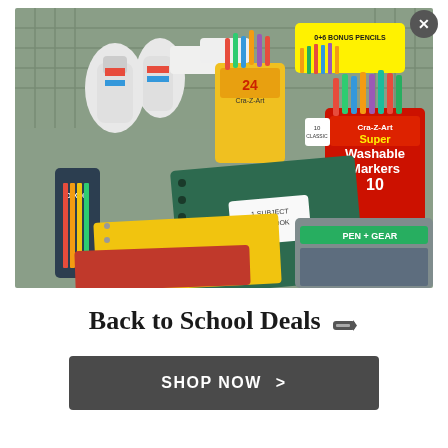[Figure (photo): A shopping cart filled with back-to-school supplies including Cra-Z-Art Super Washable Markers (10 count), Cra-Z-Art 24-count crayons, Dixon pencils, 1 Subject Notebook (70 pages, green cover), yellow spiral notebook, red notebook, Pen+Gear binder/folder, Elmer's glue bottle, erasers, and bonus pencils pack.]
Back to School Deals 🖊
SHOP NOW >